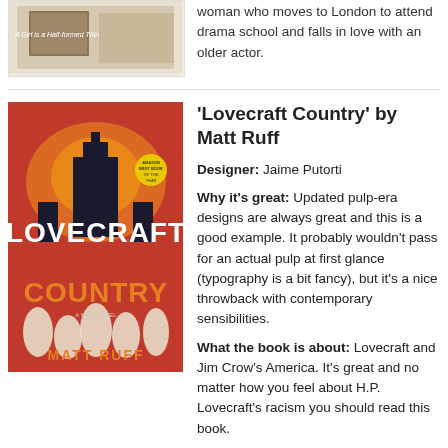[Figure (photo): Partial book cover at top of page, cropped]
woman who moves to London to attend drama school and falls in love with an older actor.
[Figure (photo): Book cover of 'Lovecraft Country' by Matt Ruff - red background with large white text and ghostly figures]
'Lovecraft Country' by Matt Ruff
Designer: Jaime Putorti
Why it's great: Updated pulp-era designs are always great and this is a good example. It probably wouldn't pass for an actual pulp at first glance (typography is a bit fancy), but it's a nice throwback with contemporary sensibilities.
What the book is about: Lovecraft and Jim Crow's America. It's great and no matter how you feel about H.P. Lovecraft's racism you should read this book.
[Figure (photo): Book cover of 'They Don't Come Home Anymore' - handwritten text with illustrated dragon/creature]
'They Don't Come Home Anymore' by T.E...
Artist: Candice Tripp with designer Ives Honavess...
Why it's great: I like the negative space so much and the handmade (I'm guessing) typography is a nice touch...